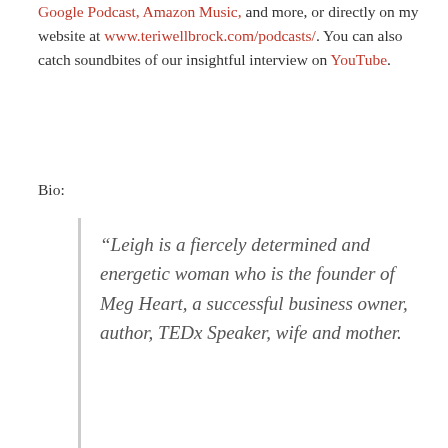and more, or directly on my website at www.teriwellbrock.com/podcasts/. You can also catch soundbites of our insightful interview on YouTube.
Bio:
“Leigh is a fiercely determined and energetic woman who is the founder of Meg Heart, a successful business owner, author, TEDx Speaker, wife and mother.